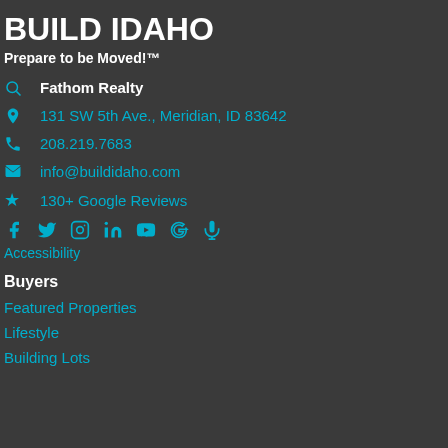BUILD IDAHO
Prepare to be Moved!™
🔑  Fathom Realty
📍  131 SW 5th Ave., Meridian, ID 83642
📞  208.219.7683
✉  info@buildidaho.com
★  130+ Google Reviews
[Figure (other): Social media icons row: Facebook, Twitter, Instagram, LinkedIn, YouTube, Google, Podcast]
Accessibility
Buyers
Featured Properties
Lifestyle
Building Lots